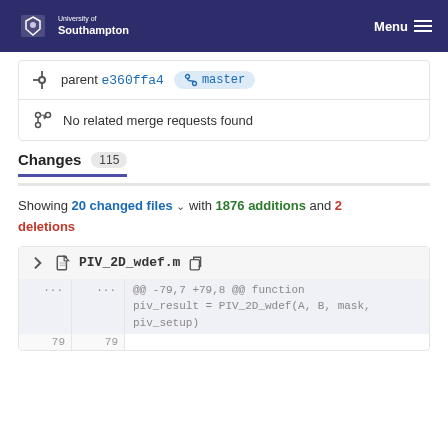University of Southampton | Menu
parent e360ffa4 master
No related merge requests found
Changes 115
Showing 20 changed files with 1876 additions and 2 deletions
PIV_2D_wdef.m
@@ -79,7 +79,8 @@ function
piv_result = PIV_2D_wdef(A, B, mask,
piv_setup)
79  79